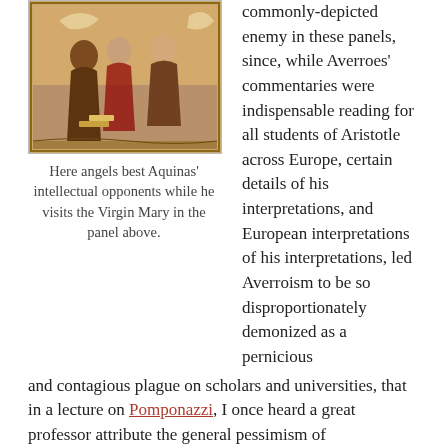[Figure (illustration): A painting depicting angels besting Aquinas' intellectual opponents while he visits the Virgin Mary.]
Here angels best Aquinas' intellectual opponents while he visits the Virgin Mary in the panel above.
commonly-depicted enemy in these panels, since, while Averroes' commentaries were indispensable reading for all students of Aristotle across Europe, certain details of his interpretations, and European interpretations of his interpretations, led Averroism to be so disproportionately demonized as a pernicious and contagious plague on scholars and universities, that in a lecture on Pomponazzi, I once heard a great professor attribute the general pessimism of Pomponazzi's philosophy to, "Well, but he was down there in Minas Morgul in Padua which was full of Averroism."  Clearly, it is the most natural of human desires to want see Sam squash Shelob with the Summa Contra Gentiles.
Before moving on, let me share a few more photos from the lovely, and peculiarly Gothic, Cistercian (more Cs!) monastery at Fossanova where Thomas Aquinas died, or, to be more accurate, where the substantial form of his existence terminated material contact in order for its Intellect to participate directly in the Divine essence, which will